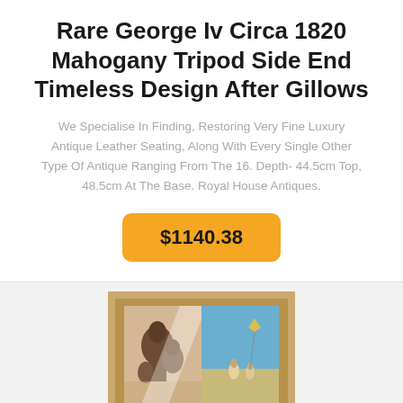Rare George Iv Circa 1820 Mahogany Tripod Side End Timeless Design After Gillows
We Specialise In Finding, Restoring Very Fine Luxury Antique Leather Seating, Along With Every Single Other Type Of Antique Ranging From The 16. Depth- 44.5cm Top, 48.5cm At The Base. Royal House Antiques.
$1140.38
[Figure (photo): A framed artwork/painting showing figures, with a light wood frame, partially visible at the bottom of the page.]